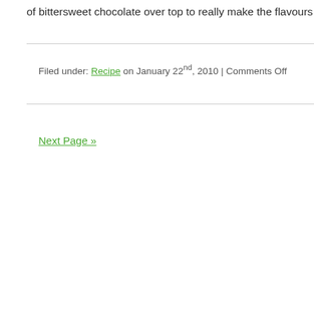of bittersweet chocolate over top to really make the flavours of the dish pop. It
Filed under: Recipe on January 22nd, 2010 | Comments Off
Next Page »